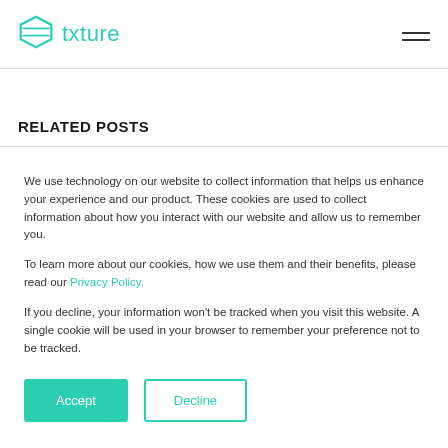txture
RELATED POSTS
We use technology on our website to collect information that helps us enhance your experience and our product. These cookies are used to collect information about how you interact with our website and allow us to remember you.
To learn more about our cookies, how we use them and their benefits, please read our Privacy Policy.
If you decline, your information won't be tracked when you visit this website. A single cookie will be used in your browser to remember your preference not to be tracked.